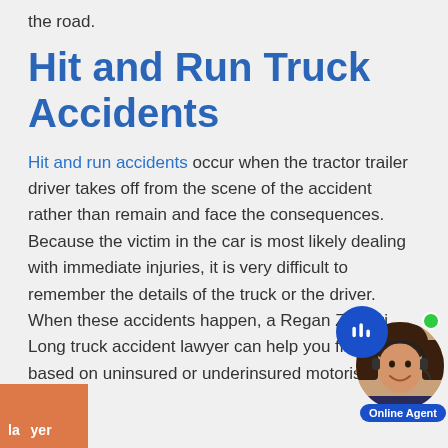the road.
Hit and Run Truck Accidents
Hit and run accidents occur when the tractor trailer driver takes off from the scene of the accident rather than remain and face the consequences. Because the victim in the car is most likely dealing with immediate injuries, it is very difficult to remember the details of the truck or the driver. When these accidents happen, a Regan Zambri Long truck accident lawyer can help you file a claim based on uninsured or underinsured motorist.
[Figure (illustration): Online chat agent widget with a smiling female agent wearing a headset, a blue chat bubble icon with bars, a green online indicator dot, an 'Online Agent' badge, and an orange/red partial box in the bottom-left corner.]